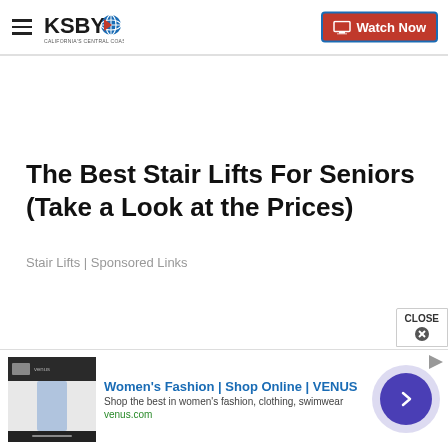KSBY — California's Central Coast | Watch Now
The Best Stair Lifts For Seniors (Take a Look at the Prices)
Stair Lifts | Sponsored Links
[Figure (screenshot): Advertisement banner: Women's Fashion | Shop Online | VENUS — Shop the best in women's fashion, clothing, swimwear — venus.com]
CLOSE
Women's Fashion | Shop Online | VENUS — Shop the best in women's fashion, clothing, swimwear — venus.com